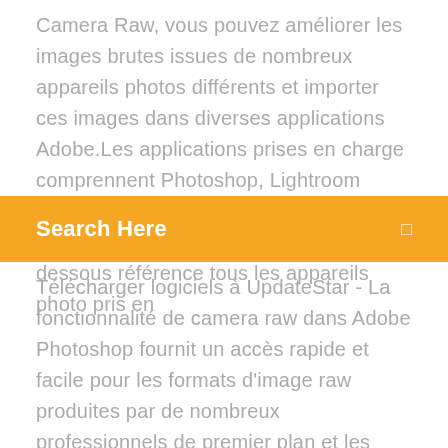Camera Raw, vous pouvez améliorer les images brutes issues de nombreux appareils photos différents et importer ces images dans diverses applications Adobe.Les applications prises en charge comprennent Photoshop, Lightroom Classic, Lightroom, Photoshop Elements, After Effects et Bridge. Le tableau ci-dessous référence tous les appareils photo pris en
[Figure (other): Orange search bar UI element with text 'Search Here' and a search icon on the right]
Télécharger logiciels à UpdateStar - La fonctionnalité de camera raw dans Adobe Photoshop fournit un accès rapide et facile pour les formats d'image raw produites par de nombreux professionnels de premier plan et les appareils photo numériques de milieu de gamme. Camera Raw 7.1 Update - Télécharger pour Mac Gratuitement 25/02/2013 · 8/10 (7 votes) - Télécharger Camera Raw Mac Gratuitement. Téléchargez Camera Raw gratuitement pour Mac. Camera Raw permet d'ouvrir une grande quantité de photos en format RAW d'appareils photo sur Adobe Photoshop. Camera Raw est un